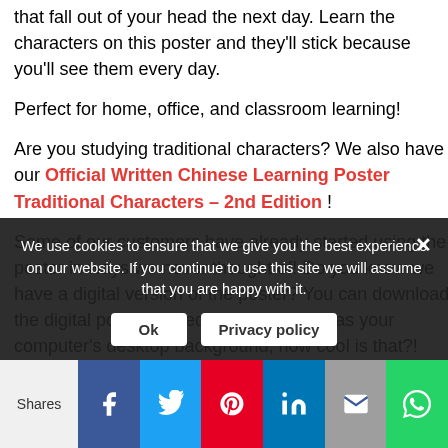that fall out of your head the next day. Learn the characters on this poster and they'll stick because you'll see them every day.
Perfect for home, office, and classroom learning!
Are you studying traditional characters? We also have our Official Written Chinese Learning Poster Traditional Characters – 2nd Edition !
Some of our customers have already started using the poster in ways we never thought of! Do you know we have a digital version of the poster? You can download the digital poster immediately and use it as your computer's desktop background, how cool is that?! The file we send is
We use cookies to ensure that we give you the best experience on our website. If you continue to use this site we will assume that you are happy with it.
Shares | Facebook | Twitter | Pinterest | LinkedIn | Email | WhatsApp